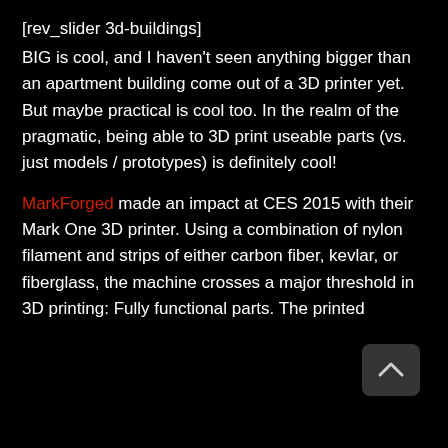[rev_slider 3d-buildings]
BIG is cool, and I haven't seen anything bigger than an apartment building come out of a 3D printer yet. But maybe practical is cool too. In the realm of the pragmatic, being able to 3D print useable parts (vs. just models / prototypes) is definitely cool!
MarkForged made an impact at CES 2015 with their Mark One 3D printer. Using a combination of nylon filament and strips of either carbon fiber, kevlar, or fiberglass, the machine crosses a major threshold in 3D printing: Fully functional parts. The printed